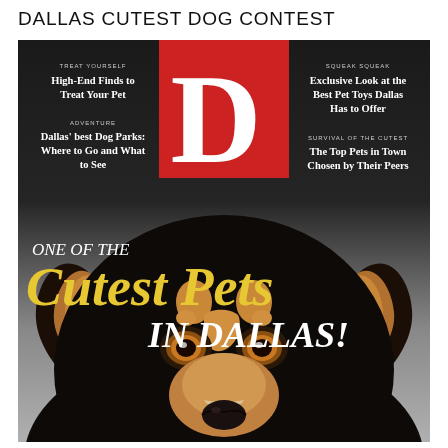DALLAS CUTEST DOG CONTEST
[Figure (illustration): Magazine cover for 'D' magazine featuring a close-up photo of a black, tan, and white dog (Border Collie type) looking up at the camera, with a large red 'D' logo at the top center, teasers on left and right sides, and bold overlaid text reading 'ONE OF THE Cutest Pets IN DALLAS!']
TREAT YOURSELF
High-End Finds to Treat Your Pet
ADVENTURE
Dallas' best Dog Parks: Where to Go and What to See
SQUEAK SQUEAK
Exclusive Look at the Best Pet Toys Dallas Has to Offer
SURVIVAL OF THE CUTEST
The Top Pets in Town Chosen by Their Peers
ONE OF THE
Cutest Pets
IN DALLAS!